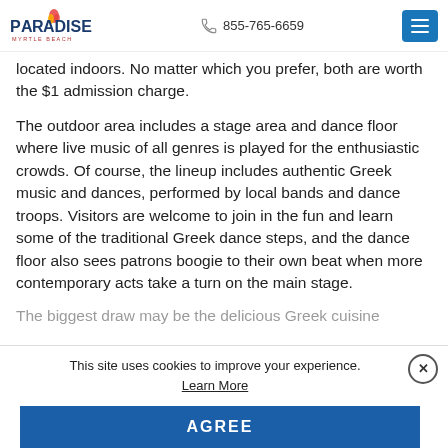Paradise Myrtle Beach | 855-765-6659
located indoors. No matter which you prefer, both are worth the $1 admission charge.
The outdoor area includes a stage area and dance floor where live music of all genres is played for the enthusiastic crowds. Of course, the lineup includes authentic Greek music and dances, performed by local bands and dance troops. Visitors are welcome to join in the fun and learn some of the traditional Greek dance steps, and the dance floor also sees patrons boogie to their own beat when more contemporary acts take a turn on the main stage.
The biggest draw may be the delicious Greek cuisine
This site uses cookies to improve your experience. Learn More
AGREE